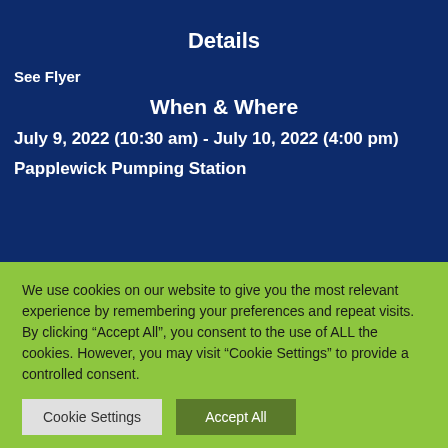Details
See Flyer
When & Where
July 9, 2022 (10:30 am) - July 10, 2022 (4:00 pm)
Papplewick Pumping Station
We use cookies on our website to give you the most relevant experience by remembering your preferences and repeat visits. By clicking "Accept All", you consent to the use of ALL the cookies. However, you may visit "Cookie Settings" to provide a controlled consent.